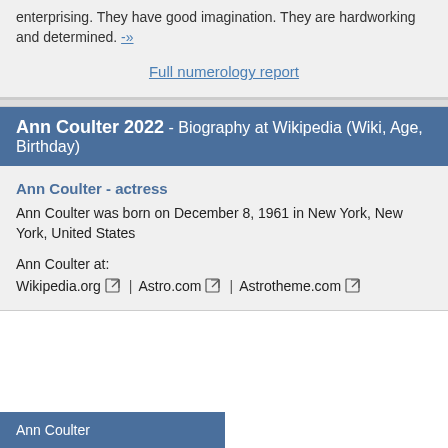enterprising. They have good imagination. They are hardworking and determined. -»
Full numerology report
Ann Coulter 2022 - Biography at Wikipedia (Wiki, Age, Birthday)
Ann Coulter - actress
Ann Coulter was born on December 8, 1961 in New York, New York, United States
Ann Coulter at:
Wikipedia.org | Astro.com | Astrotheme.com
Ann Coulter